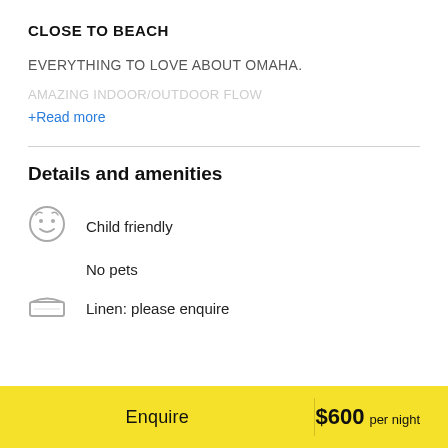CLOSE TO BEACH
EVERYTHING TO LOVE ABOUT OMAHA.
AMAZING INDOOR/OUTDOOR FLOW
+Read more
Details and amenities
Child friendly
No pets
Linen: please enquire
Enquire  $600 per night